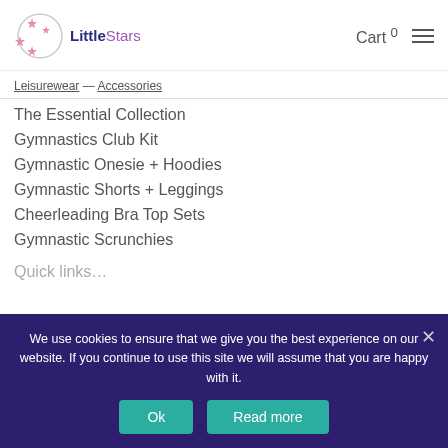[Figure (logo): Little Stars gymnastics brand logo with pink stars and circular design]
Cart 0
Leisurewear — Accessories
The Essential Collection
Gymnastics Club Kit
Gymnastic Onesie + Hoodies
Gymnastic Shorts + Leggings
Cheerleading Bra Top Sets
Gymnastic Scrunchies
Quick links (partially visible)
We use cookies to ensure that we give you the best experience on our website. If you continue to use this site we will assume that you are happy with it.